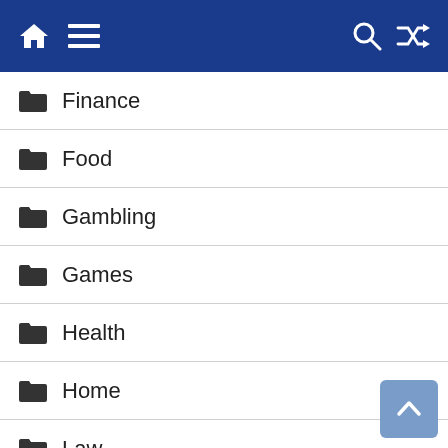Navigation bar with home, menu, search, and shuffle icons
Finance
Food
Gambling
Games
Health
Home
Law
News
Pet
Real Estate
Shopping